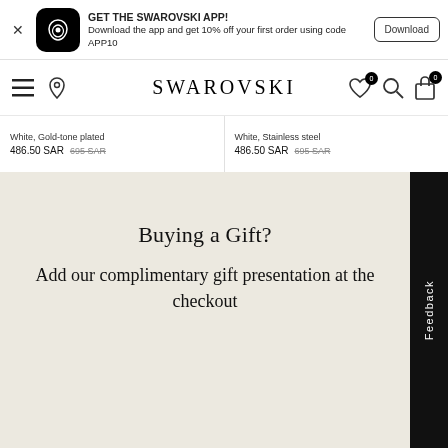GET THE SWAROVSKI APP! Download the app and get 10% off your first order using code APP10 | Download
SWAROVSKI
White, Gold-tone plated 486.50 SAR 695 SAR
White, Stainless steel 486.50 SAR 695 SAR
Buying a Gift?
Add our complimentary gift presentation at the checkout